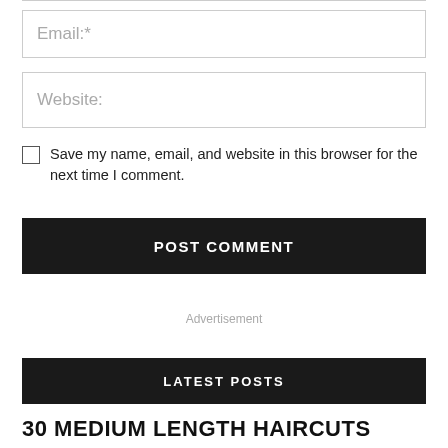Email:*
Website:
Save my name, email, and website in this browser for the next time I comment.
POST COMMENT
Advertisement
LATEST POSTS
30 MEDIUM LENGTH HAIRCUTS